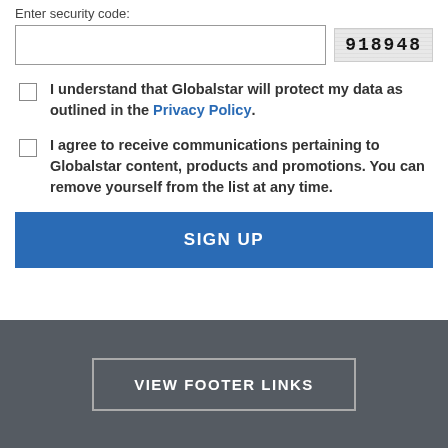Enter security code:
[Figure (screenshot): CAPTCHA input field with security code '918948' displayed on the right]
I understand that Globalstar will protect my data as outlined in the Privacy Policy.
I agree to receive communications pertaining to Globalstar content, products and promotions. You can remove yourself from the list at any time.
SIGN UP
VIEW FOOTER LINKS